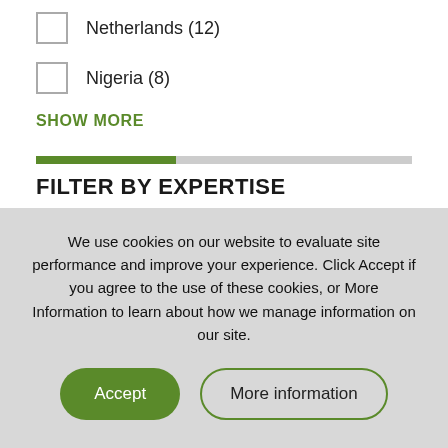Netherlands (12)
Nigeria (8)
SHOW MORE
FILTER BY EXPERTISE
Agricultural Productivity (5)
Policy and Governance (3)
We use cookies on our website to evaluate site performance and improve your experience. Click Accept if you agree to the use of these cookies, or More Information to learn about how we manage information on our site.